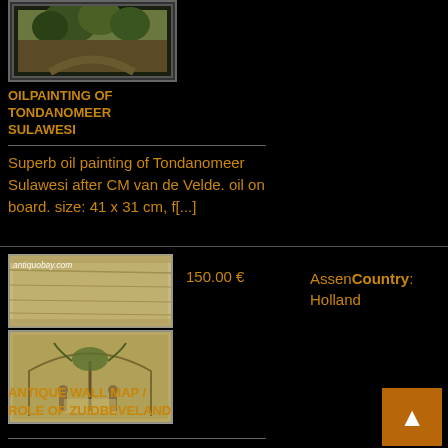[Figure (photo): Partial view of an oil painting of Tondanomeer Sulawesi in a dark frame, cropped at top]
OILPAINTING OF TONDANOMEER SULAWESI
Superb oil painting of Tondanomeer Sulawesi after CM van de Velde. oil on board. size: 41 x 31 cm, f[...]
[Figure (photo): Two images of an antique wall map / role of Zuidbeveland: top image shows the rolled/unrolled map, bottom shows a decorative cartouche with figures. Watermark reads antiquobay.com]
150.00 €
Assen Country: Holland
ANTIQUE WALL MAP / ROLE OF ZUIDBEVELAND